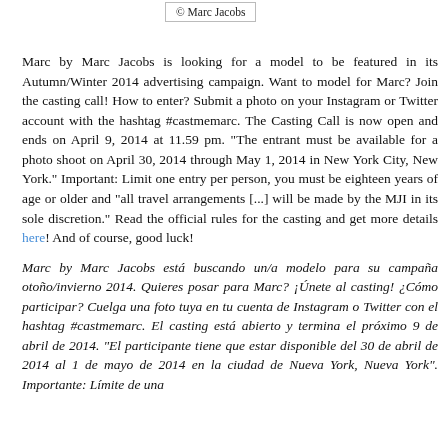© Marc Jacobs
Marc by Marc Jacobs is looking for a model to be featured in its Autumn/Winter 2014 advertising campaign. Want to model for Marc? Join the casting call! How to enter? Submit a photo on your Instagram or Twitter account with the hashtag #castmemarc. The Casting Call is now open and ends on April 9, 2014 at 11.59 pm. "The entrant must be available for a photo shoot on April 30, 2014 through May 1, 2014 in New York City, New York." Important: Limit one entry per person, you must be eighteen years of age or older and "all travel arrangements [...] will be made by the MJI in its sole discretion." Read the official rules for the casting and get more details here! And of course, good luck!
Marc by Marc Jacobs está buscando un/a modelo para su campaña otoño/invierno 2014. Quieres posar para Marc? ¡Únete al casting! ¿Cómo participar? Cuelga una foto tuya en tu cuenta de Instagram o Twitter con el hashtag #castmemarc. El casting está abierto y termina el próximo 9 de abril de 2014. "El participante tiene que estar disponible del 30 de abril de 2014 al 1 de mayo de 2014 en la ciudad de Nueva York, Nueva York". Importante: Límite de una